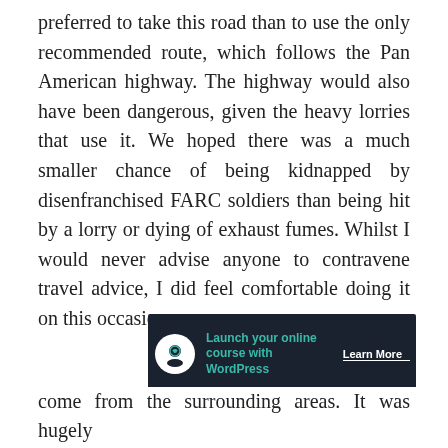preferred to take this road than to use the only recommended route, which follows the Pan American highway. The highway would also have been dangerous, given the heavy lorries that use it. We hoped there was a much smaller chance of being kidnapped by disenfranchised FARC soldiers than being hit by a lorry or dying of exhaust fumes. Whilst I would never advise anyone to contravene travel advice, I did feel comfortable doing it on this occasion.
[Figure (other): Advertisement banner with dark background showing 'Launch your online course with WordPress' with a Learn More button and a circular logo icon.]
Privacy & Cookies: This site uses cookies. By continuing to use this website, you agree to their use. To find out more, including how to control cookies, see here: Cookie Policy
Close and accept
come from the surrounding areas. It was hugely